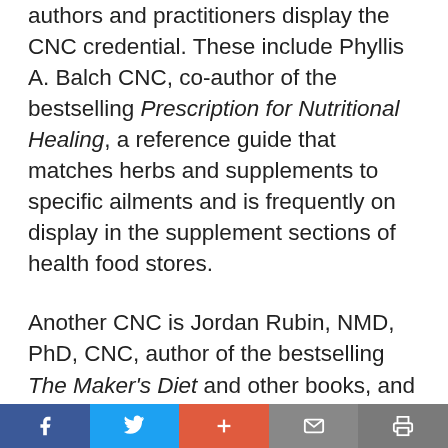authors and practitioners display the CNC credential. These include Phyllis A. Balch CNC, co-author of the bestselling Prescription for Nutritional Healing, a reference guide that matches herbs and supplements to specific ailments and is frequently on display in the supplement sections of health food stores.
Another CNC is Jordan Rubin, NMD, PhD, CNC, author of the bestselling The Maker's Diet and other books, and an honorary board member of the Weston A. Price Foundation. In that Rubin's NMD (Natural Medical Doctor) and PhD also come from non-accredited colleges, he has often been attacked as having dubious
Facebook | Twitter | + | Mail | Print